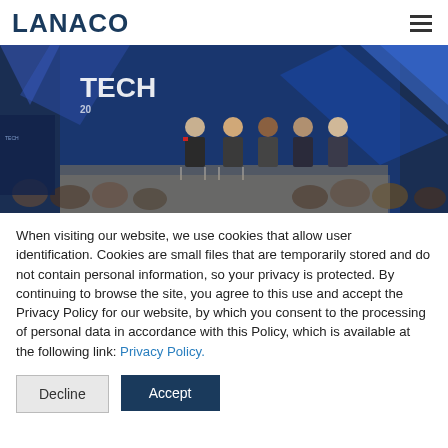LANACO
[Figure (photo): Panel discussion event photo with five speakers seated on stage in front of a TECH 2023 branded backdrop with blue geometric design, audience visible in foreground with backs to camera]
When visiting our website, we use cookies that allow user identification. Cookies are small files that are temporarily stored and do not contain personal information, so your privacy is protected. By continuing to browse the site, you agree to this use and accept the Privacy Policy for our website, by which you consent to the processing of personal data in accordance with this Policy, which is available at the following link: Privacy Policy.
Decline
Accept